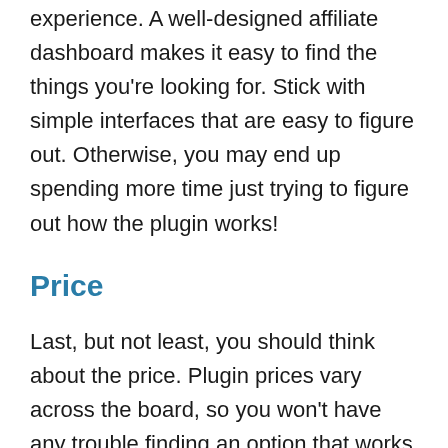experience. A well-designed affiliate dashboard makes it easy to find the things you're looking for. Stick with simple interfaces that are easy to figure out. Otherwise, you may end up spending more time just trying to figure out how the plugin works!
Price
Last, but not least, you should think about the price. Plugin prices vary across the board, so you won't have any trouble finding an option that works with your budget. There is also a